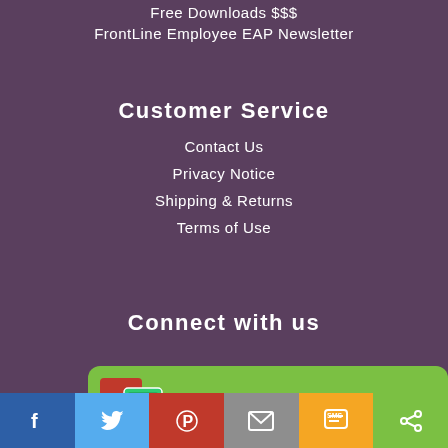Free Downloads $$$
FrontLine Employee EAP Newsletter
Customer Service
Contact Us
Privacy Notice
Shipping & Returns
Terms of Use
Connect with us
[Figure (infographic): Green banner with PowerPoint/course icon and text 'Create Your Own Web Course']
[Figure (infographic): Social media sharing bar with Facebook, Twitter, Pinterest, Email, SMS, and Share buttons]